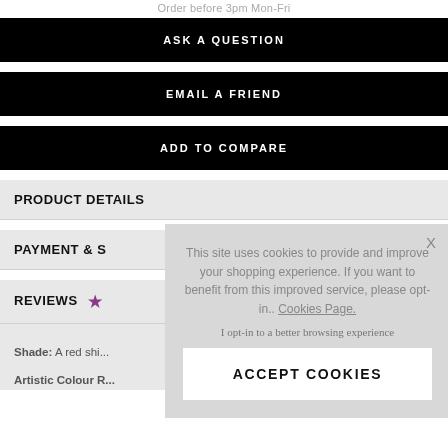Order before 3pm Mon-Fri
ASK A QUESTION
EMAIL A FRIEND
ADD TO COMPARE
PRODUCT DETAILS
PAYMENT & S
REVIEWS ★
Shade: A red shi...
Artistic Colour R...
This site uses cookies to provide and improve your shopping experience. If you want to benefit from this improved service, please opt-in.. Cookies Page.
I opt-in to a better browsing experience
ACCEPT COOKIES